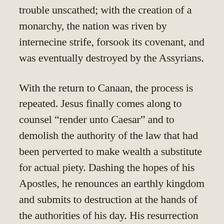trouble unscathed; with the creation of a monarchy, the nation was riven by internecine strife, forsook its covenant, and was eventually destroyed by the Assyrians.
With the return to Canaan, the process is repeated. Jesus finally comes along to counsel “render unto Caesar” and to demolish the authority of the law that had been perverted to make wealth a substitute for actual piety. Dashing the hopes of his Apostles, he renounces an earthly kingdom and submits to destruction at the hands of the authorities of his day. His resurrection was proof that the paternity of God promises greatness that no king can equal.